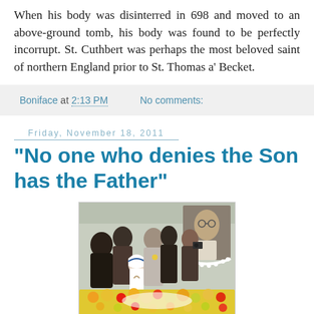When his body was disinterred in 698 and moved to an above-ground tomb, his body was found to be perfectly incorrupt. St. Cuthbert was perhaps the most beloved saint of northern England prior to St. Thomas a' Becket.
Boniface at 2:13 PM   No comments:
Friday, November 18, 2011
"No one who denies the Son has the Father"
[Figure (photo): Group of people gathered around a flower-covered memorial or tomb, with a portrait of Gandhi visible in the background. A woman in white with a blue-striped headscarf (resembling Mother Teresa) is shown with hands clasped in prayer at the front.]